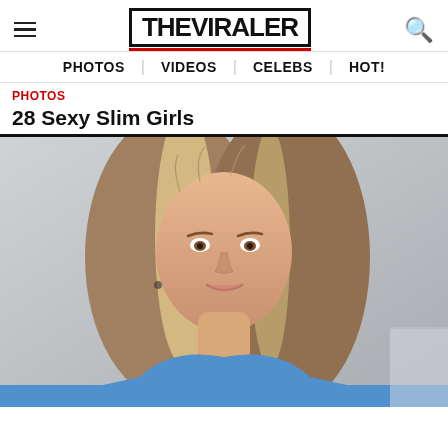THE VIRALER
PHOTOS | VIDEOS | CELEBS | HOT!
PHOTOS
28 Sexy Slim Girls
[Figure (photo): Close-up selfie of a young woman with long highlighted blonde-brown hair, smiling slightly, wearing a blue top, taken indoors against a light grey wall.]